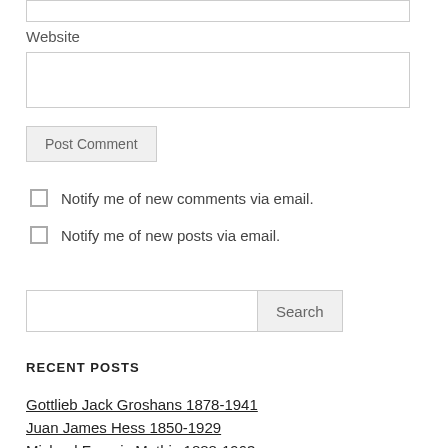Website
Post Comment
Notify me of new comments via email.
Notify me of new posts via email.
Search
RECENT POSTS
Gottlieb Jack Groshans 1878-1941
Juan James Hess 1850-1929
Michael Francis Mathis 1888-1963 (partial)